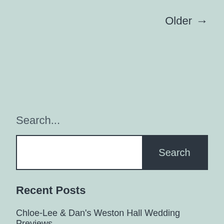Older →
Search...
Search
Recent Posts
Chloe-Lee & Dan's Weston Hall Wedding Previews